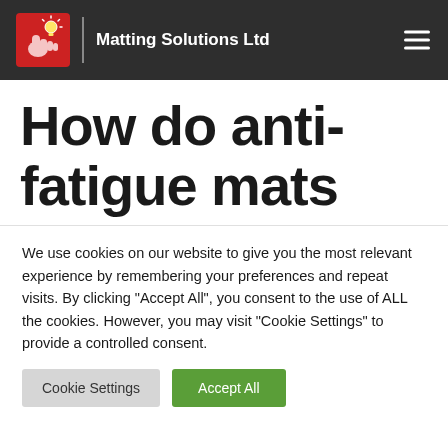Matting Solutions Ltd
How do anti-fatigue mats
We use cookies on our website to give you the most relevant experience by remembering your preferences and repeat visits. By clicking "Accept All", you consent to the use of ALL the cookies. However, you may visit "Cookie Settings" to provide a controlled consent.
Cookie Settings | Accept All